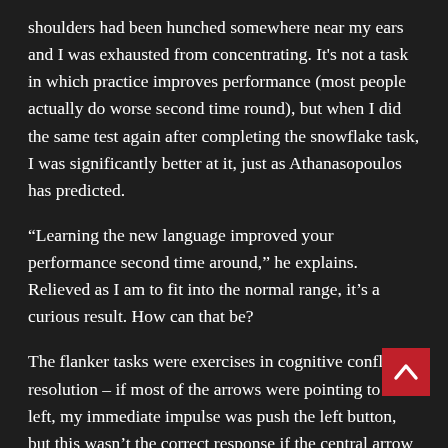shoulders had been hunched somewhere near my ears and I was exhausted from concentrating. It's not a task in which practice improves performance (most people actually do worse second time round), but when I did the same test again after completing the snowflake task, I was significantly better at it, just as Athanasopoulos has predicted.
“Learning the new language improved your performance second time around,” he explains. Relieved as I am to fit into the normal range, it’s a curious result. How can that be?
The flanker tasks were exercises in cognitive conflict resolution – if most of the arrows were pointing to the left, my immediate impulse was push the left button, but this wasn’t the correct response if the central arrow was pointing right. I